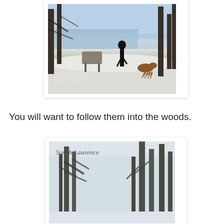[Figure (photo): Winter outdoor scene: a person in silhouette and a dog near a lake overlook, surrounded by snow-covered trees and a sign board. Water and sky visible in background.]
You will want to follow them into the woods.
[Figure (photo): Winter woods scene: tall pine trees covered in snow against a pale grey-white sky. Watermark text 'Sarah Laurence' in italic script in upper left corner.]